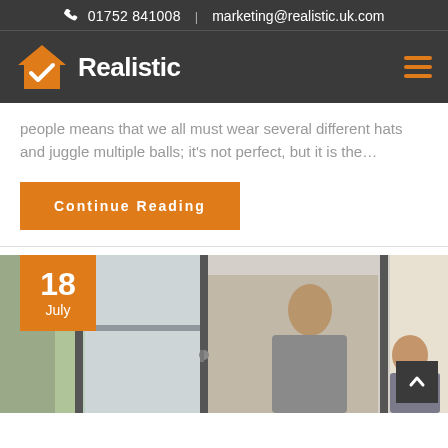01752 841008 | marketing@realistic.uk.com
[Figure (logo): Realistic logo with orange house/checkmark icon and white 'Realistic' text on dark background, with hamburger menu icon]
people means that we all must wear several different hats and juggle multiple balls; it's not perfect, but it is the…
Continue Reading
[Figure (photo): Photo of woman opening bifold/patio doors with man seated in background, date badge showing 18 July in orange]